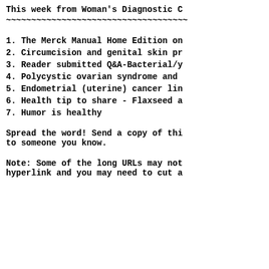This week from Woman's Diagnostic C
~~~~~~~~~~~~~~~~~~~~~~~~~~~~~~~~~~~~
1. The Merck Manual Home Edition on
2. Circumcision and genital skin pr
3. Reader submitted Q&A-Bacterial/y
4. Polycystic ovarian syndrome and
5. Endometrial (uterine) cancer lin
6. Health tip to share - Flaxseed a
7. Humor is healthy
Spread the word! Send a copy of thi to someone you know.
Note: Some of the long URLs may not hyperlink and you may need to cut a